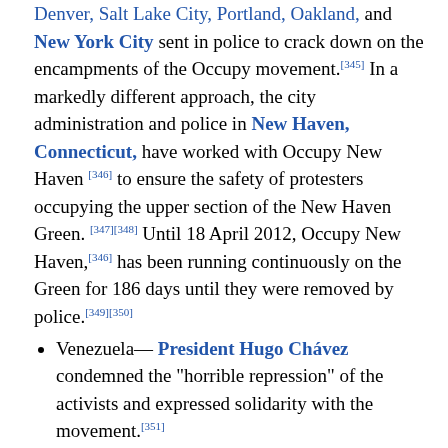Denver, Salt Lake City, Portland, Oakland, and New York City sent in police to crack down on the encampments of the Occupy movement.[345] In a markedly different approach, the city administration and police in New Haven, Connecticut, have worked with Occupy New Haven [346] to ensure the safety of protesters occupying the upper section of the New Haven Green.[347][348] Until 18 April 2012, Occupy New Haven,[346] has been running continuously on the Green for 186 days until they were removed by police.[349][350]
Venezuela— President Hugo Chávez condemned the "horrible repression" of the activists and expressed solidarity with the movement.[351]
Media
Foreign Affairs has had various articles